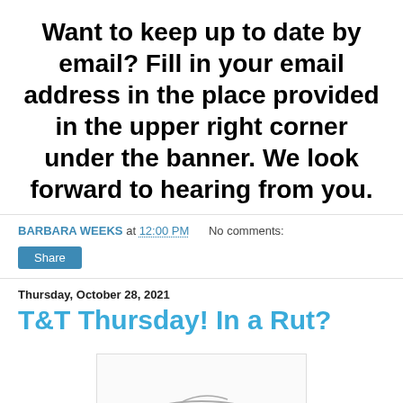Want to keep up to date by email? Fill in your email address in the place provided in the upper right corner under the banner. We look forward to hearing from you.
BARBARA WEEKS at 12:00 PM   No comments:
Share
Thursday, October 28, 2021
T&T Thursday! In a Rut?
[Figure (illustration): Partial illustration visible at bottom of page, appears to show a fish or similar object, cropped.]